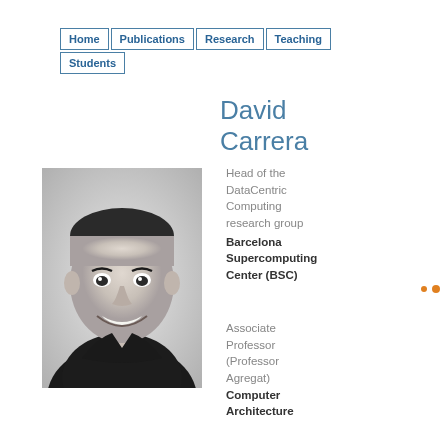Home | Publications | Research | Teaching | Students
David Carrera
[Figure (photo): Black and white headshot photo of David Carrera, a young man smiling, wearing a dark shirt]
Head of the DataCentric Computing research group Barcelona Supercomputing Center (BSC)
Associate Professor (Professor Agregat) Computer Architecture